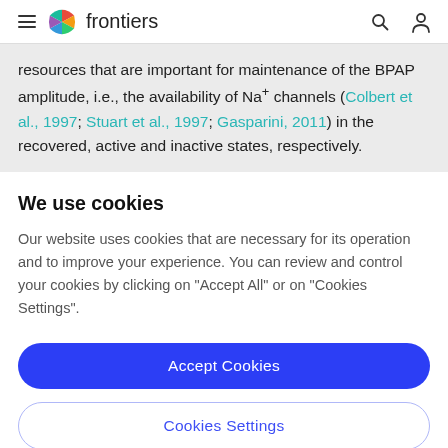frontiers
resources that are important for maintenance of the BPAP amplitude, i.e., the availability of Na+ channels (Colbert et al., 1997; Stuart et al., 1997; Gasparini, 2011) in the recovered, active and inactive states, respectively.
We use cookies
Our website uses cookies that are necessary for its operation and to improve your experience. You can review and control your cookies by clicking on "Accept All" or on "Cookies Settings".
Accept Cookies
Cookies Settings